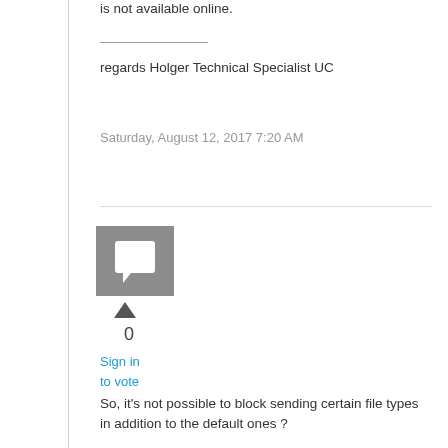is not available online.
regards Holger Technical Specialist UC
Saturday, August 12, 2017 7:20 AM
[Figure (illustration): Gray square avatar/profile icon with a speech bubble symbol]
0
Sign in to vote
So, it's not possible to block sending certain file types in addition to the default ones ?